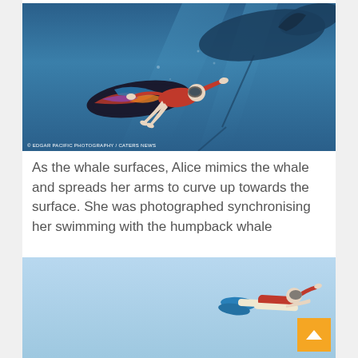[Figure (photo): Underwater photo of a woman in a red top swimming alongside a large humpback whale. The woman is holding a colorful surfboard and spreading her arms. The ocean background is deep blue. Photo credit: © EDGAR PACIFIC PHOTOGRAPHY / CATERS NEWS]
As the whale surfaces, Alice mimics the whale and spreads her arms to curve up towards the surface. She was photographed synchronising her swimming with the humpback whale
[Figure (photo): Underwater photo of a swimmer with fins swimming horizontally against a light blue sky/water background.]